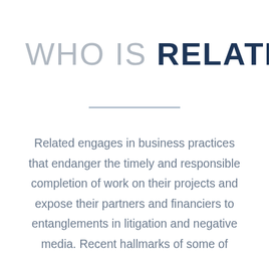WHO IS RELATED?
Related engages in business practices that endanger the timely and responsible completion of work on their projects and expose their partners and financiers to entanglements in litigation and negative media. Recent hallmarks of some of